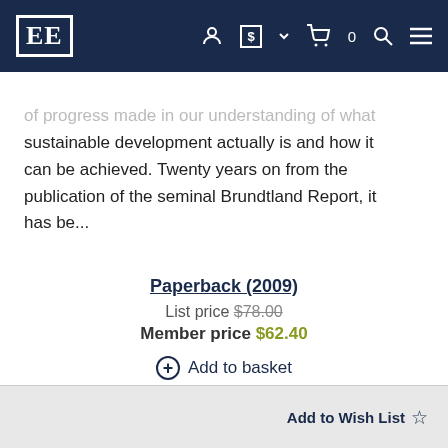EE [logo] navigation bar with account, currency, cart (0), search, menu icons
of progress made in our understanding of what sustainable development actually is and how it can be achieved. Twenty years on from the publication of the seminal Brundtland Report, it has be...
Paperback (2009)
List price $78.00
Member price $62.40
⊕ Add to basket
eBook: $62.40   Find out more
Add to Wish List ☆